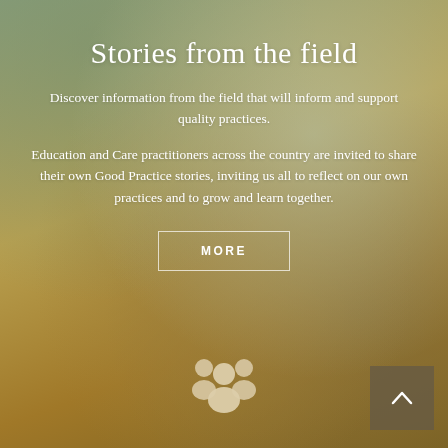Stories from the field
Discover information from the field that will inform and support quality practices.
Education and Care practitioners across the country are invited to share their own Good Practice stories, inviting us all to reflect on our own practices and to grow and learn together.
MORE
[Figure (illustration): Group of people icon (community/practitioners symbol) in white, centered near the bottom of the page]
[Figure (illustration): Upward chevron arrow icon in white on a semi-transparent dark square button, bottom right corner]